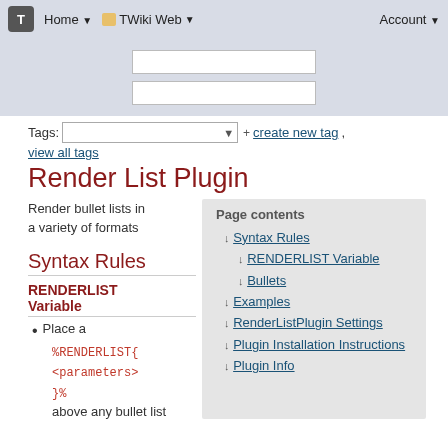T  Home ▼  TWiki Web ▼  Account ▼
[Figure (screenshot): Search input area with two text input boxes on grey background]
Tags:  [dropdown]  + create new tag , view all tags
Render List Plugin
Render bullet lists in a variety of formats
Page contents
↓ Syntax Rules
↓ RENDERLIST Variable
↓ Bullets
↓ Examples
↓ RenderListPlugin Settings
↓ Plugin Installation Instructions
↓ Plugin Info
Syntax Rules
RENDERLIST Variable
Place a
%RENDERLIST{
<parameters>
}% above any bullet list